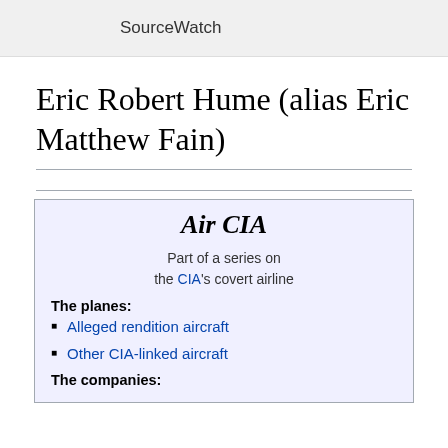SourceWatch
Eric Robert Hume (alias Eric Matthew Fain)
Air CIA
Part of a series on the CIA's covert airline
The planes:
Alleged rendition aircraft
Other CIA-linked aircraft
The companies: